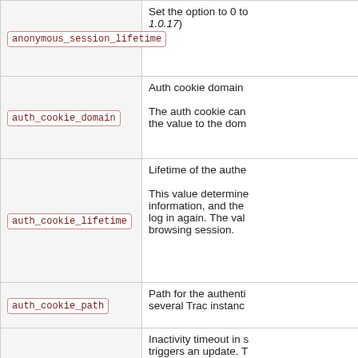| Option | Description |
| --- | --- |
| anonymous_session_lifetime | Set the option to 0 to... 1.0.17) |
| auth_cookie_domain | Auth cookie domain

The auth cookie can... the value to the dom... |
| auth_cookie_lifetime | Lifetime of the authe...

This value determine... information, and the... log in again. The val... browsing session. |
| auth_cookie_path | Path for the authenti... several Trac instanc... |
| auto_preview_timeout | Inactivity timeout in s... triggers an update. T... lower the setting, the... to 0 to disable autom... |
| auto_reload | Automatically reload... |
| backup_dir | Database backup lo... |
|  | Base URL of the Tra... |